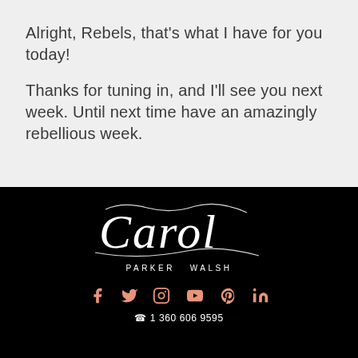Alright, Rebels, that's what I have for you today!
Thanks for tuning in, and I'll see you next week. Until next time have an amazingly rebellious week.
[Figure (logo): Carol Parker Walsh script logo with name in white on black background]
Social media icons (Facebook, Twitter, Instagram, YouTube, Pinterest, LinkedIn) and phone number 1 360 606 9595